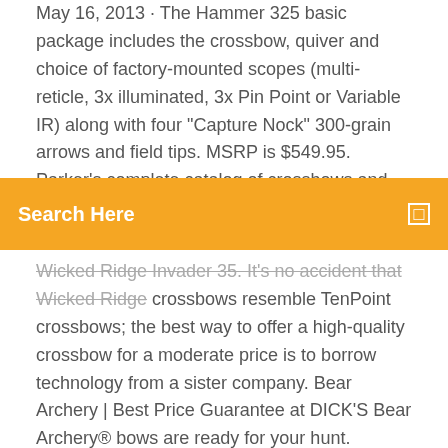May 16, 2013 · The Hammer 325 basic package includes the crossbow, quiver and choice of factory-mounted scopes (multi-reticle, 3x illuminated, 3x Pin Point or Variable IR) along with four "Capture Nock" 300-grain arrows and field tips. MSRP is $549.95. Parker's complete catalog of crossbows and accessories may be viewed at www.parkerbows.com. Hot New Crossbows for Fall...
Search Here
Wicked Ridge Invader 35. It's no accident that Wicked Ridge crossbows resemble TenPoint crossbows; the best way to offer a high-quality crossbow for a moderate price is to borrow technology from a sister company. Bear Archery | Best Price Guarantee at DICK'S Bear Archery® bows are ready for your hunt. Smooth, no-vibration draws and quality craftsmanship help you make the most of every shot. Consider these points when selecting your Bear Archery® compound bow: Draw Length: This factor denotes the distance a compound bow draws before the string stops. Consult product information to learn